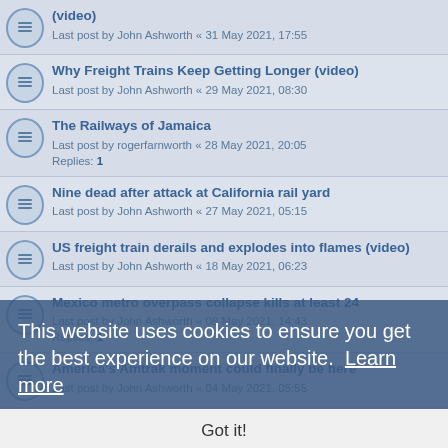(video) Last post by John Ashworth « 31 May 2021, 17:55
Why Freight Trains Keep Getting Longer (video)
Last post by John Ashworth « 29 May 2021, 08:30
The Railways of Jamaica
Last post by rogerfarnworth « 28 May 2021, 20:05
Replies: 1
Nine dead after attack at California rail yard
Last post by John Ashworth « 27 May 2021, 05:15
US freight train derails and explodes into flames (video)
Last post by John Ashworth « 18 May 2021, 06:23
Mexico metro overpass collapse kills at least 24
Last post by John Ashworth « 08 May 2021, 14:43
Replies: 1
America's Amtrak moment could finally be here
Last post by John Ashworth « 04 May 2021, 05:55
Last post by John Ashworth « 23 Apr 2021, 21:09
Joy and Excitement from a simple wave (video)
Last post by John Ashworth « 15 Apr 2021, 17:08
Amtrak map suggests new corridors
Last post by John Ashworth « 03 Apr 2021, 06:01
Replies: 1
Amtrak to test right of access
This website uses cookies to ensure you get the best experience on our website. Learn more
Got it!